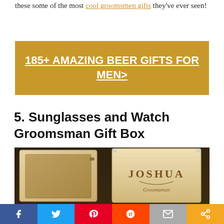these some of the most cool groomsmen gifts they've ever seen!
[Figure (other): Golden/tan banner with white bold underlined text: 185+ AMAZING BEER GIFTS FOR MEN>]
5. Sunglasses and Watch Groomsman Gift Box
[Figure (photo): Photo of two wooden gift boxes, one open showing interior tray, one closed with 'JOSHUA Groomsman' laser engraved on lid, dark background]
Social share bar: Facebook, Twitter, Pinterest, Reddit, Mail, Share